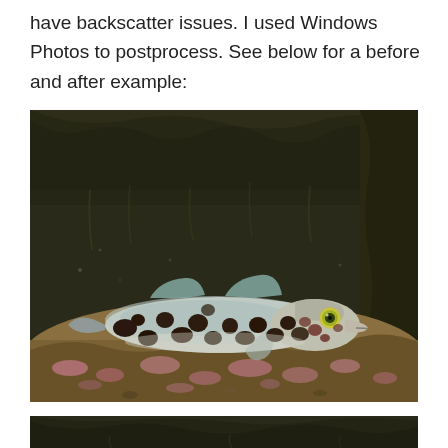have backscatter issues. I used Windows Photos to postprocess. See below for a before and after example:
[Figure (photo): Underwater photograph of a small spotted fish (goby) resting on the sea floor covered with coralline algae, taken in low-light conditions under a rocky overhang. The fish has a white/silver body with dark brown and black spots, a bright yellow-green eye, and fin detail visible. Background is dark rock.]
[Figure (photo): Partial view of the before (unprocessed) version of the same underwater photo, showing the dark rocky overhang at the top of the frame — the bottom portion of the page is cut off.]